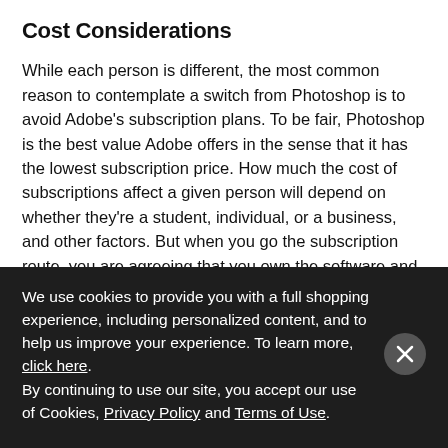Cost Considerations
While each person is different, the most common reason to contemplate a switch from Photoshop is to avoid Adobe's subscription plans. To be fair, Photoshop is the best value Adobe offers in the sense that it has the lowest subscription price. How much the cost of subscriptions affect a given person will depend on whether they're a student, individual, or a business, and other factors. But when you go the subscription route, you are agreeing that you own the software and the right to use it, for a specified period of time. If the...
We use cookies to provide you with a full shopping experience, including personalized content, and to help us improve your experience. To learn more, click here.
By continuing to use our site, you accept our use of Cookies, Privacy Policy and Terms of Use.